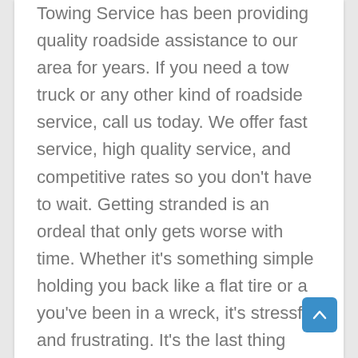Towing Service has been providing quality roadside assistance to our area for years. If you need a tow truck or any other kind of roadside service, call us today. We offer fast service, high quality service, and competitive rates so you don't have to wait. Getting stranded is an ordeal that only gets worse with time. Whether it's something simple holding you back like a flat tire or a you've been in a wreck, it's stressful and frustrating. It's the last thing anybody wants. Our number one priority is to get you back on your feet quickly. We respond quickly and with urgency once we receive your call. We are available 24 hours a day, 7 days a semaine. We don't care if it's hot, cold, raining, or late, we'll take your call and head your way in no time flat. Union City Towing NJ is always available and ready to assist you. We'll dispatch an experienced pro to your location immediately and get you back on your way quickly.